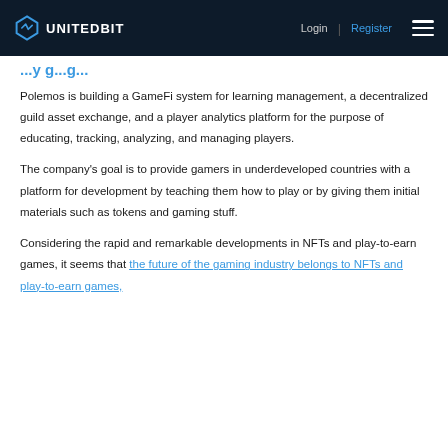UNITEDBIT | Login | Register
playing games...
Polemos is building a GameFi system for learning management, a decentralized guild asset exchange, and a player analytics platform for the purpose of educating, tracking, analyzing, and managing players.
The company's goal is to provide gamers in underdeveloped countries with a platform for development by teaching them how to play or by giving them initial materials such as tokens and gaming stuff.
Considering the rapid and remarkable developments in NFTs and play-to-earn games, it seems that the future of the gaming industry belongs to NFTs and play-to-earn games,